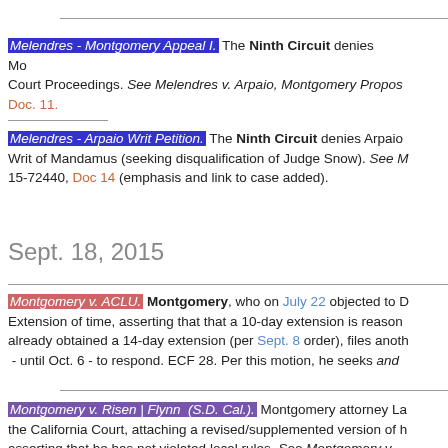Melendres - Montgomery Appeal I.  The Ninth Circuit denies Mo... Court Proceedings. See Melendres v. Arpaio, Montgomery Propos... Doc. 11.
Melendres - Arpaio Writ Petition.  The Ninth Circuit denies Arpaio... Writ of Mandamus (seeking disqualification of Judge Snow).  See M... 15-72440, Doc 14 (emphasis and link to case added).
Sept. 18, 2015
Montgomery v. ACLU.  Montgomery, who on July 22 objected to D... Extension of time, asserting that that a 10-day extension is reason... already obtained a 14-day extension (per Sept. 8 order), files anoth... - until Oct. 6 - to respond.  ECF 28.  Per this motion, he seeks and...
Montgomery v. Risen | Flynn  (S.D. Cal.).  Montgomery attorney La... the California Court, attaching a revised/supplemented version of h... asserting that he has not violated local rules.  See Montgomery v. ...